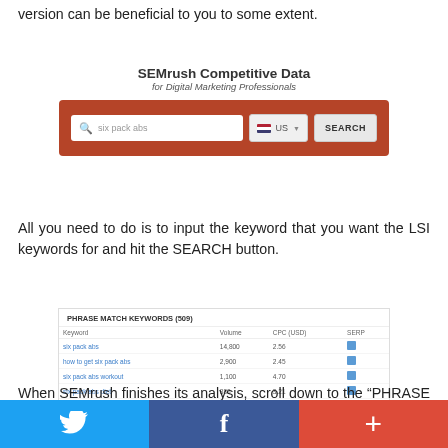version can be beneficial to you to some extent.
SEMrush Competitive Data
for Digital Marketing Professionals
[Figure (screenshot): SEMrush search interface screenshot showing a search bar with 'six pack abs' query, US dropdown, and SEARCH button on a red/brown background]
All you need to do is to input the keyword that you want the LSI keywords for and hit the SEARCH button.
[Figure (screenshot): SEMrush Phrase Match Keywords table showing: six pack abs (14,800, 2.56), how to get six pack abs (2,900, 2.45), six pack abs workout (1,100, 4.70), six pack abs diet (880, 3.21), how to get six pack abs fast (540, 3.21)]
When SEMrush finishes its analysis, scroll down to the "PHRASE MATCH KEYWORDS" as shown
[Figure (other): Social share bar with Twitter, Facebook, and Google+ buttons]